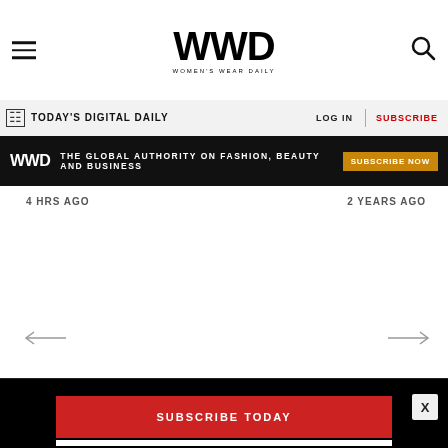WWD WOMEN'S WEAR DAILY
TODAY'S DIGITAL DAILY   LOG IN   SUBSCRIBE
WWD THE GLOBAL AUTHORITY ON FASHION, BEAUTY AND BUSINESS   SUBSCRIBE NOW
4 HRS AGO
2 YEARS AGO
← →
SUBSCRIBE TODAY
[Figure (screenshot): WWD Wellness Forum advertisement: Mind. Body. Business. with BUY TICKETS button]